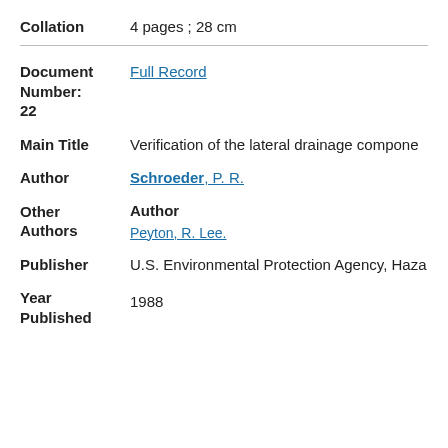Collation   4 pages ; 28 cm
Document Number: Full Record 22
Main Title   Verification of the lateral drainage compone
Author   Schroeder, P. R.
Other Authors   Author   Peyton, R. Lee.
Publisher   U.S. Environmental Protection Agency, Haza
Year Published   1988